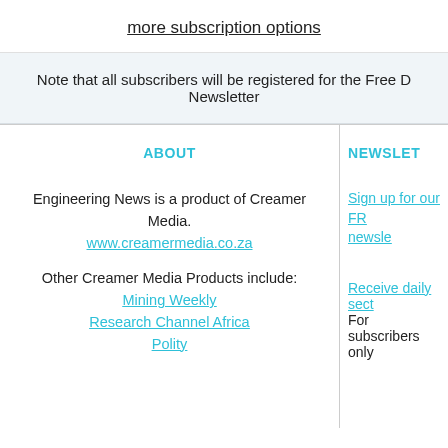more subscription options
Note that all subscribers will be registered for the Free Daily Newsletter
ABOUT
Engineering News is a product of Creamer Media.
www.creamermedia.co.za

Other Creamer Media Products include:
Mining Weekly
Research Channel Africa
Polity
NEWSLETTERS
Sign up for our FREE newsletters
Receive daily sector updates. For subscribers only.